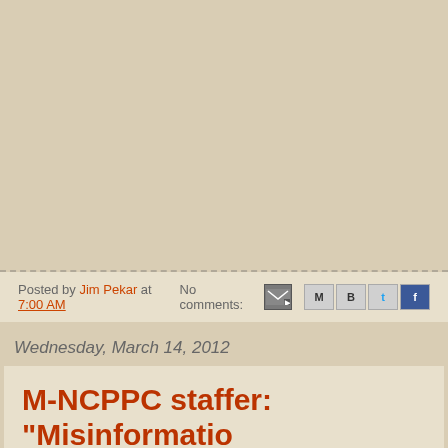Posted by Jim Pekar at 7:00 AM   No comments:
Wednesday, March 14, 2012
M-NCPPC staffer: "Misinformation have prejudiced the votes of comm members."
Two staff members of the Maryland – National Capital Park & Planning have filed Minority Reports dissenting from the recommendation of the Advisory Committee.